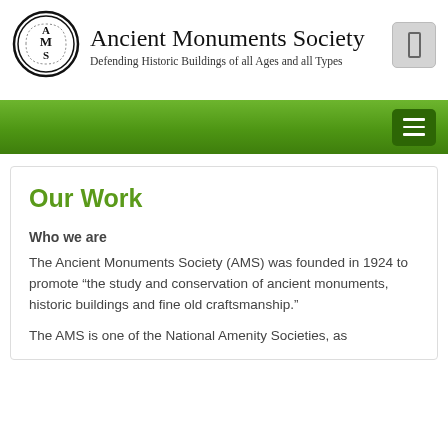[Figure (logo): Ancient Monuments Society circular logo with stylized AMS monogram in black and white]
Ancient Monuments Society
Defending Historic Buildings of all Ages and all Types
Our Work
Who we are
The Ancient Monuments Society (AMS) was founded in 1924 to promote “the study and conservation of ancient monuments, historic buildings and fine old craftsmanship.”
The AMS is one of the National Amenity Societies, as